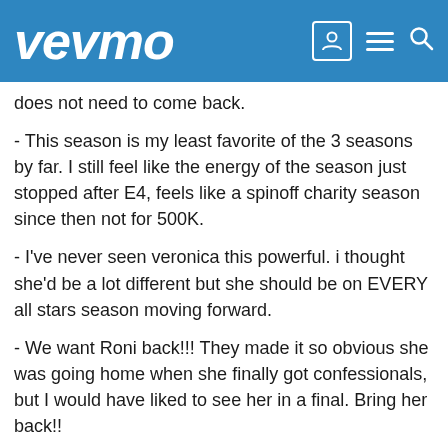vevmo
does not need to come back.
- This season is my least favorite of the 3 seasons by far. I still feel like the energy of the season just stopped after E4, feels like a spinoff charity season since then not for 500K.
- I've never seen veronica this powerful. i thought she'd be a lot different but she should be on EVERY all stars season moving forward.
- We want Roni back!!! They made it so obvious she was going home when she finally got confessionals, but I would have liked to see her in a final. Bring her back!!
- This is my favorite Derrick in 3 seasons. I can't find myself rooting for any of the guys left and I want...